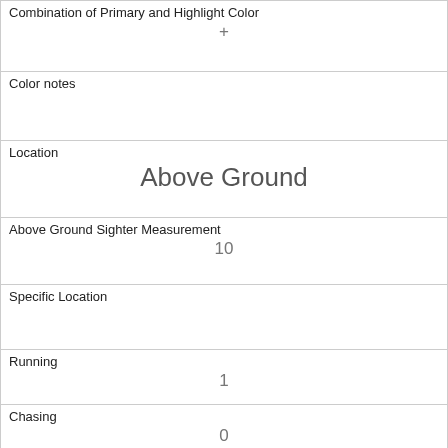| Combination of Primary and Highlight Color | + |
| Color notes |  |
| Location | Above Ground |
| Above Ground Sighter Measurement | 10 |
| Specific Location |  |
| Running | 1 |
| Chasing | 0 |
| Climbing | 1 |
| Eating | 0 |
| Foraging | 0 |